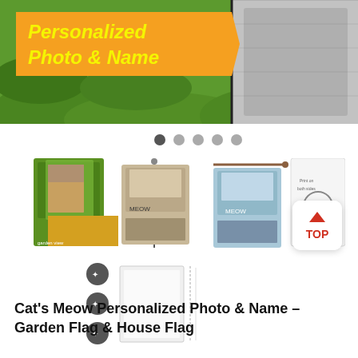[Figure (photo): Main product image showing a personalized cat flag with orange arrow banner saying 'Personalized Photo & Name' in yellow bold italic text, overlaid on a green garden background]
[Figure (photo): Carousel navigation dots: one dark (active) and four gray dots]
[Figure (photo): Four product thumbnail images showing different views of the cat garden flag and house flag, plus a diagram showing flag construction]
[Figure (photo): Bottom row showing feature icons and a flat flag product image with a scroll-to-top button]
Cat's Meow Personalized Photo & Name – Garden Flag & House Flag